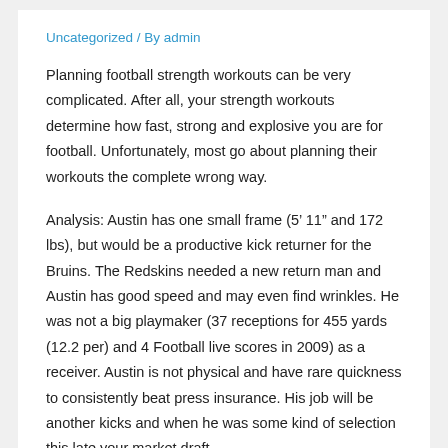Uncategorized / By admin
Planning football strength workouts can be very complicated. After all, your strength workouts determine how fast, strong and explosive you are for football. Unfortunately, most go about planning their workouts the complete wrong way.
Analysis: Austin has one small frame (5’ 11” and 172 lbs), but would be a productive kick returner for the Bruins. The Redskins needed a new return man and Austin has good speed and may even find wrinkles. He was not a big playmaker (37 receptions for 455 yards (12.2 per) and 4 Football live scores in 2009) as a receiver. Austin is not physical and have rare quickness to consistently beat press insurance. His job will be another kicks and when he was some kind of selection this late your market draft.
It’s my belief that the common thought of health is a very limited, ignorant, one dimensional and misleading perspective. In fact, I